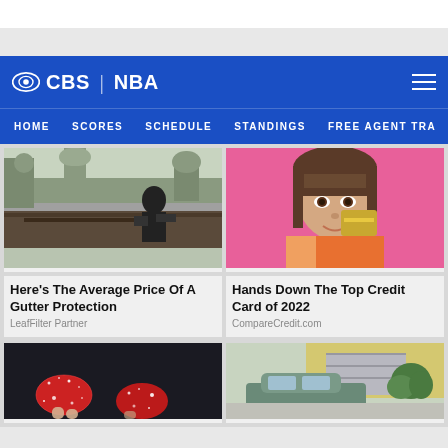CBS | NBA
HOME  SCORES  SCHEDULE  STANDINGS  FREE AGENT TRA
[Figure (photo): Person in black hoodie cleaning gutters on a rooftop]
Here's The Average Price Of A Gutter Protection
LeafFilter Partner
[Figure (photo): Woman with brown hair on pink background holding a gold credit card]
Hands Down The Top Credit Card of 2022
CompareCredit.com
[Figure (photo): Close-up of sugar-coated red candy pieces]
[Figure (photo): Car parked in a driveway next to a yellow wall with green bush]